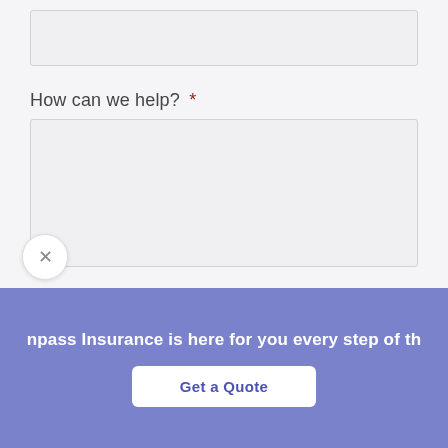[Figure (screenshot): Empty text input field (form input box, light gray background with border)]
How can we help? *
[Figure (screenshot): Large textarea input field (light gray background with border) for user to type their message]
Coverage will not be bound or changed until confirmed by a licensed agent.
[Figure (screenshot): Submit button (partially visible, dark blue border)]
npass Insurance is here for you every step of th
[Figure (screenshot): Get a Quote button (white button with blue text on purple/blue banner background)]